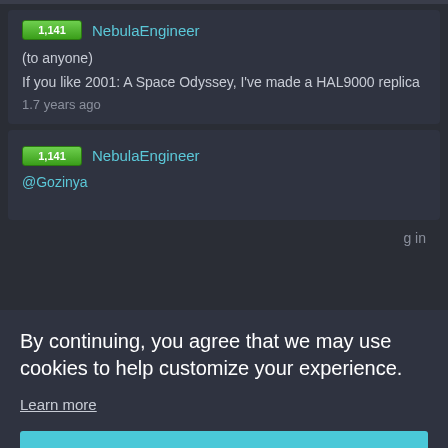[Figure (screenshot): Social media/forum post card. Username: NebulaEngineer, score: 1,141, post text: (to anyone) If you like 2001: A Space Odyssey, I've made a HAL9000 replica, timestamp: 1.7 years ago]
[Figure (screenshot): Second social media post card. Username: NebulaEngineer, score: 1,141, mention: @Gozinya]
By continuing, you agree that we may use cookies to help customize your experience.
Learn more
Got it!